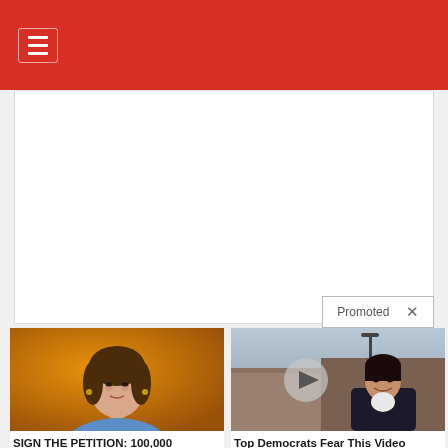≡
help impeach the President.
Promoted  ✕
[Figure (photo): Photo of Nancy Pelosi against orange background]
SIGN THE PETITION: 100,000 Signatures to Impeach Speaker Nancy Pelosi
🔥 52,459
[Figure (photo): Photo of Kamala Harris outside a building with a video play button overlay]
Top Democrats Fear This Video Getting Out — Watch Now Before It's Banned
🔥 32,973